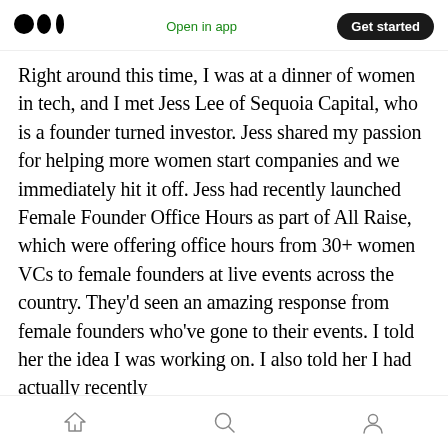Medium logo | Open in app | Get started
Right around this time, I was at a dinner of women in tech, and I met Jess Lee of Sequoia Capital, who is a founder turned investor. Jess shared my passion for helping more women start companies and we immediately hit it off. Jess had recently launched Female Founder Office Hours as part of All Raise, which were offering office hours from 30+ women VCs to female founders at live events across the country. They’d seen an amazing response from female founders who’ve gone to their events. I told her the idea I was working on. I also told her I had actually recently
Home | Search | Profile